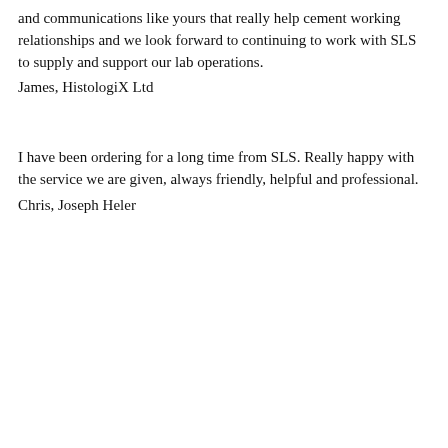and communications like yours that really help cement working relationships and we look forward to continuing to work with SLS to supply and support our lab operations.
James, HistologiX Ltd
I have been ordering for a long time from SLS. Really happy with the service we are given, always friendly, helpful and professional.
Chris, Joseph Heler